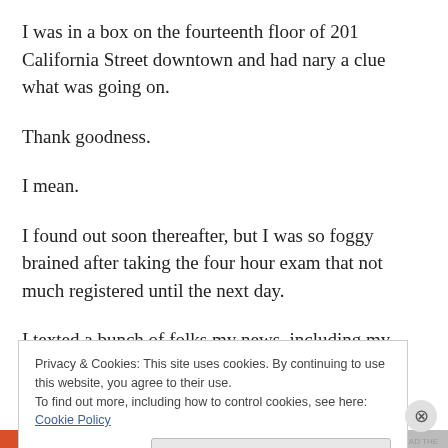I was in a box on the fourteenth floor of 201 California Street downtown and had nary a clue what was going on.
Thank goodness.
I mean.
I found out soon thereafter, but I was so foggy brained after taking the four hour exam that not much registered until the next day.
I texted a bunch of folks my news, including my guy, and I
Privacy & Cookies: This site uses cookies. By continuing to use this website, you agree to their use.
To find out more, including how to control cookies, see here: Cookie Policy
Close and accept